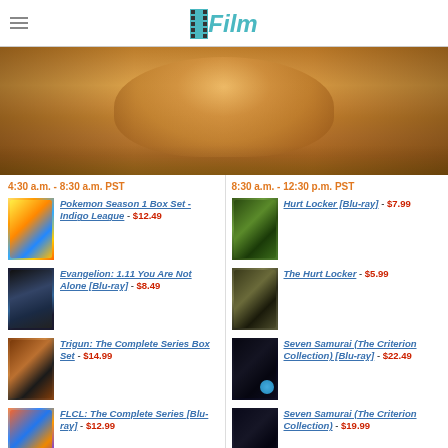/Film
[Figure (photo): Close-up photo of a woman's face with blonde hair, golden/warm desert tones]
4:30 a.m. - 8:30 a.m. PST
Pokemon Season 1 Box Set - Indigo League - $12.49
Evangelion: 1.11 You Are Not Alone [Blu-ray] - $8.49
Trigun: The Complete Series Box Set - $14.99
FLCL: The Complete Series [Blu-ray] - $12.99
8:30 a.m. - 12:30 p.m. PST
Hurt Locker [Blu-ray] - $7.99
The Hurt Locker - $5.99
Seven Samurai (The Criterion Collection) [Blu-ray] - $22.49
Seven Samurai (The Criterion Collection) - $19.99
The African Queen [Blu-ray]